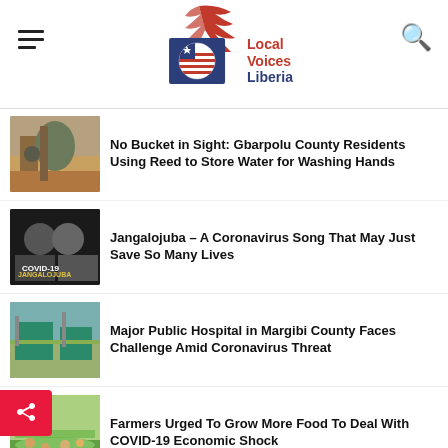Local Voices Liberia
No Buckets in Sight: Gbarpolu County Residents Using Reed to Store Water for Washing Hands
Jangalojuba – A Coronavirus Song That May Just Save So Many Lives
Major Public Hospital in Margibi County Faces Challenge Amid Coronavirus Threat
Farmers Urged To Grow More Food To Deal With COVID-19 Economic Shock
Grand Gedeh College Gets Accreditation